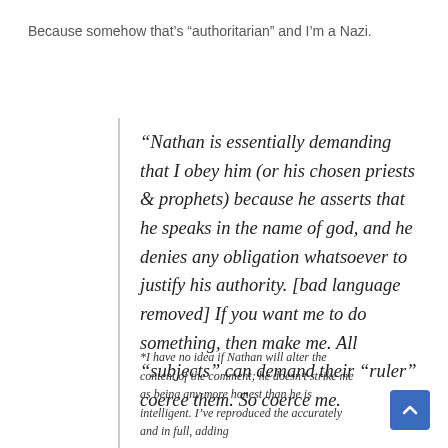Because somehow that’s “authoritarian” and I’m a Nazi.
“Nathan is essentially demanding that I obey him (or his chosen priests & prophets) because he asserts that he speaks in the name of god, and he denies any obligation whatsoever to justify his authority. [bad language removed] If you want me to do something, then make me. All “subjects” can demand their “ruler” coerce them. So coerce me.
*I have no idea if Nathan will alter the content of the comment; he doesn’t strike me as being any more honest than he is intelligent. I’ve reproduced the accurately and in full, adding